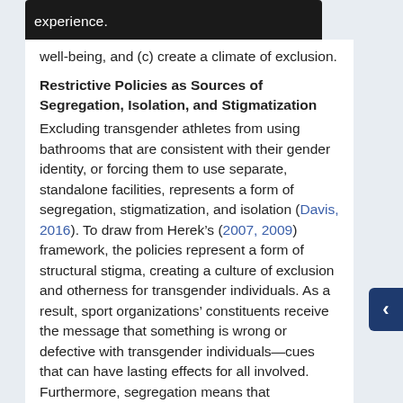(b) experience.
well-being, and (c) create a climate of exclusion.
Restrictive Policies as Sources of Segregation, Isolation, and Stigmatization
Excluding transgender athletes from using bathrooms that are consistent with their gender identity, or forcing them to use separate, standalone facilities, represents a form of segregation, stigmatization, and isolation (Davis, 2016). To draw from Herek’s (2007, 2009) framework, the policies represent a form of structural stigma, creating a culture of exclusion and otherness for transgender individuals. As a result, sport organizations’ constituents receive the message that something is wrong or defective with transgender individuals—cues that can have lasting effects for all involved. Furthermore, segregation means that transgender athletes cannot benefit from the bonding,